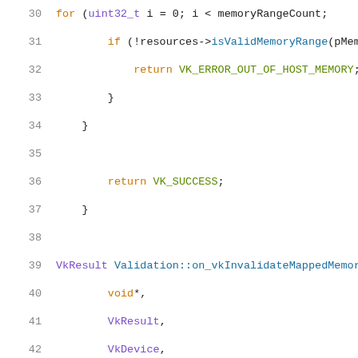[Figure (screenshot): Source code snippet showing C++ code for Vulkan memory validation, lines 30-51, with syntax highlighting. Keywords in orange, types in purple, function names in blue, constants in olive/green.]